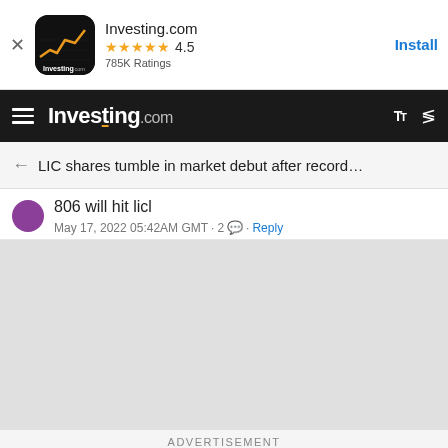[Figure (screenshot): App install banner for Investing.com with app icon, 4.5 star rating, 785K Ratings, and Install button]
Investing.com
LIC shares tumble in market debut after record…
806 will hit licl
May 17, 2022 05:42AM GMT · 2 · Reply
[Figure (screenshot): Gray advertisement area]
ADVERTISEMENT
Buy
Sell
| AD |